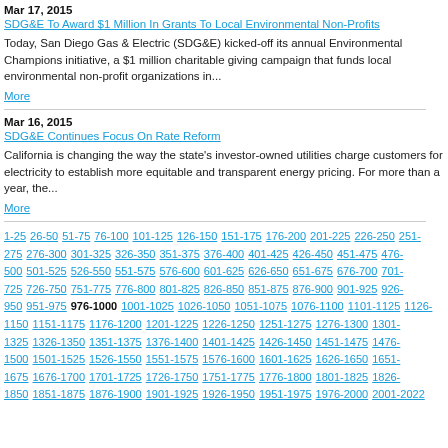Mar 17, 2015
SDG&E To Award $1 Million In Grants To Local Environmental Non-Profits
Today, San Diego Gas & Electric (SDG&E) kicked-off its annual Environmental Champions initiative, a $1 million charitable giving campaign that funds local environmental non-profit organizations in...
More
Mar 16, 2015
SDG&E Continues Focus On Rate Reform
California is changing the way the state's investor-owned utilities charge customers for electricity to establish more equitable and transparent energy pricing. For more than a year, the...
More
1-25 26-50 51-75 76-100 101-125 126-150 151-175 176-200 201-225 226-250 251-275 276-300 301-325 326-350 351-375 376-400 401-425 426-450 451-475 476-500 501-525 526-550 551-575 576-600 601-625 626-650 651-675 676-700 701-725 726-750 751-775 776-800 801-825 826-850 851-875 876-900 901-925 926-950 951-975 976-1000 1001-1025 1026-1050 1051-1075 1076-1100 1101-1125 1126-1150 1151-1175 1176-1200 1201-1225 1226-1250 1251-1275 1276-1300 1301-1325 1326-1350 1351-1375 1376-1400 1401-1425 1426-1450 1451-1475 1476-1500 1501-1525 1526-1550 1551-1575 1576-1600 1601-1625 1626-1650 1651-1675 1676-1700 1701-1725 1726-1750 1751-1775 1776-1800 1801-1825 1826-1850 1851-1875 1876-1900 1901-1925 1926-1950 1951-1975 1976-2000 2001-2022